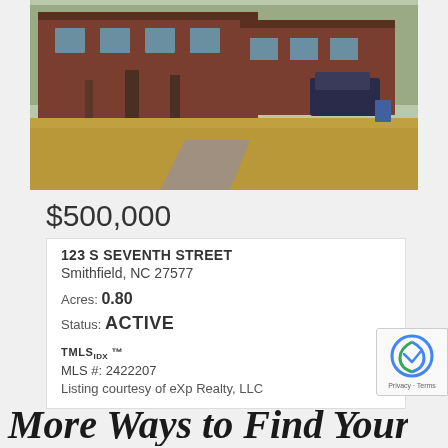[Figure (photo): Exterior photo of a brick building at 123 S Seventh Street, Smithfield NC, with trees in foreground and autumn leaves on ground]
$500,000
123 S SEVENTH STREET
Smithfield, NC 27577
Acres: 0.80
Status: ACTIVE
TMLS IDX ™
MLS #: 2422207
Listing courtesy of eXp Realty, LLC
[Figure (logo): reCAPTCHA badge with Privacy and Terms links]
More Ways to Find Your